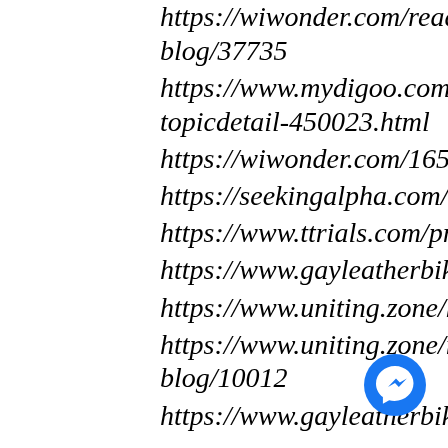https://wiwonder.com/read-blog/37735
https://www.mydigoo.com/forums-topicdetail-450023.html
https://wiwonder.com/165044030465…
https://seekingalpha.com/user/56381…
https://www.ttrials.com/profile/huma…
https://www.gayleatherbiker.de/huma…
https://www.uniting.zone/humannight…
https://www.uniting.zone/read-blog/10012
https://www.gayleatherbiker.de/read-…